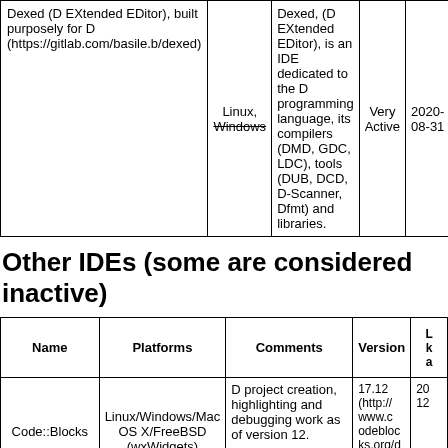| Name | Platforms | Comments | Version | Last known active |
| --- | --- | --- | --- | --- |
| Dexed (D EXtended EDitor), built purposely for D (https://gitlab.com/basile.b/dexed) | Linux, Windows | Dexed, (D EXtended EDitor), is an IDE dedicated to the D programming language, its compilers (DMD, GDC, LDC), tools (DUB, DCD, D-Scanner, Dfmt) and libraries. | Very Active | 2020-08-31 |
Other IDEs (some are considered inactive)
| Name | Platforms | Comments | Version | Last known active |
| --- | --- | --- | --- | --- |
| Code::Blocks | Linux/Windows/Mac OS X/FreeBSD (wxWidgets) | D project creation, highlighting and debugging work as of version 12. | 17.12 (http://www.codeblocks.org/downloads/26) | 20...12... |
| Plang IDE (h... |  | IDE itself is written in D and can be installed by cloning from github and running dub. | 0.8.17 (https://github. |  |